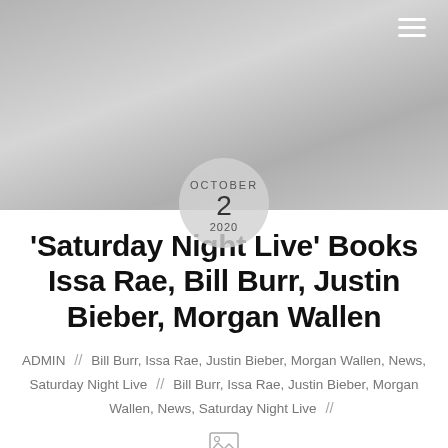[Figure (photo): Grayscale header photo of a person wearing a floral/patterned top, partially visible, with a circular date badge overlay]
'Saturday Night Live' Books Issa Rae, Bill Burr, Justin Bieber, Morgan Wallen
ADMIN // Bill Burr, Issa Rae, Justin Bieber, Morgan Wallen, News, Saturday Night Live // Bill Burr, Issa Rae, Justin Bieber, Morgan Wallen, News, Saturday Night Live //
[Figure (photo): Broken/placeholder image icon]
Studio 8H in New York's NBC Studios is getting a little